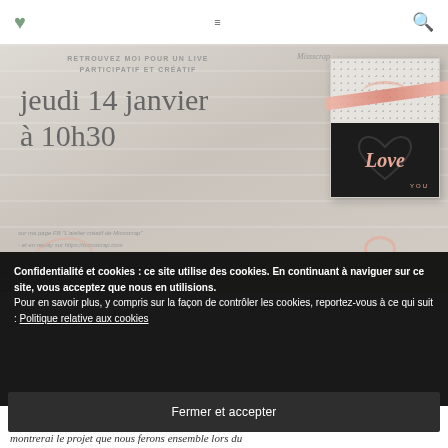♥  ≡  🔍
[Figure (photo): Promotional banner for a live creative workshop hosted by Missscrap. Text reads 'RETROUVEZ MOI POUR UN LIVE PARTICIPATIF ET CRÉATIF' and 'jeudi 14 janvier à 10h30' with Facebook page and replay URL references. A decorative scrapbooking card with 'Love You' is shown on the right side of the banner.]
Confidentialité et cookies : ce site utilise des cookies. En continuant à naviguer sur ce site, vous acceptez que nous en utilisions.
Pour en savoir plus, y compris sur la façon de contrôler les cookies, reportez-vous à ce qui suit : Politique relative aux cookies
Fermer et accepter
montrerai le projet que nous ferons ensemble lors du